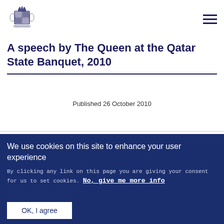[Figure (logo): UK Royal coat of arms logo in dark blue]
A speech by The Queen at the Qatar State Banquet, 2010
Published 26 October 2010
We use cookies on this site to enhance your user experience
By clicking any link on this page you are giving your consent for us to set cookies. No, give me more info
OK, I agree